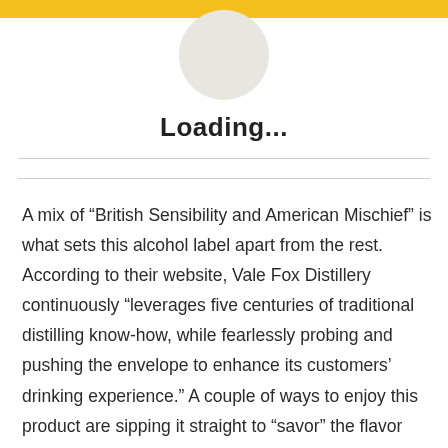[Figure (illustration): Gray circular avatar placeholder image centered below a yellow top bar]
Loading...
A mix of “British Sensibility and American Mischief” is what sets this alcohol label apart from the rest. According to their website, Vale Fox Distillery continuously “leverages five centuries of traditional distilling know-how, while fearlessly probing and pushing the envelope to enhance its customers’ drinking experience.” A couple of ways to enjoy this product are sipping it straight to “savor” the flavor and crafting tasty mixed drinks at home.